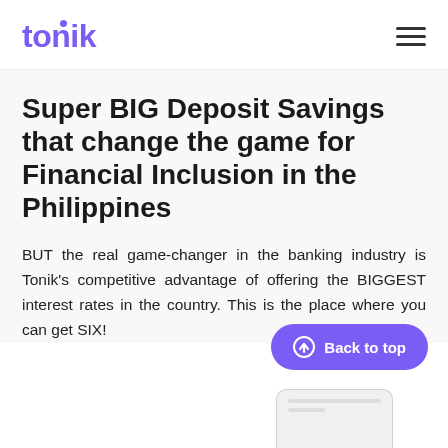tonik
Super BIG Deposit Savings that change the game for Financial Inclusion in the Philippines
BUT the real game-changer in the banking industry is Tonik's competitive advantage of offering the BIGGEST interest rates in the country. This is the place where you can get SIX!